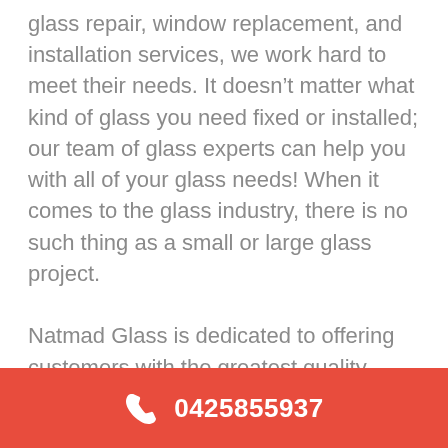glass repair, window replacement, and installation services, we work hard to meet their needs. It doesn't matter what kind of glass you need fixed or installed; our team of glass experts can help you with all of your glass needs! When it comes to the glass industry, there is no such thing as a small or large glass project.

Natmad Glass is dedicated to offering customers with the greatest quality home glass repair and replacement services at the most affordable costs. If you are getting ready to start your next home renovation project or if you are in urgent need of such services, let Natmad Glass take care of
0425855937